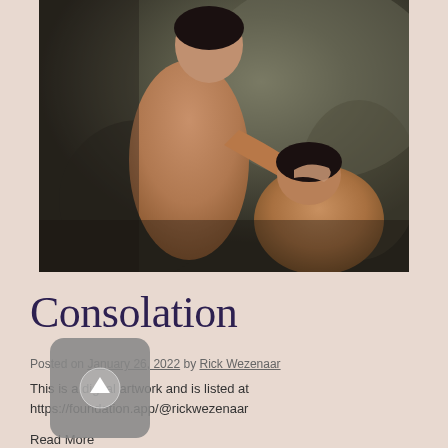[Figure (photo): Two figures in an embrace; one standing person cradles the head of another bowed figure against a dark mottled grey-green background. Both are shirtless. The image has a painterly, dark tonal quality.]
Consolation
Posted on January 26, 2022 by Rick Wezenaar
This is a digital artwork and is listed at https://foundation.app/@rickwezenaar
Read More